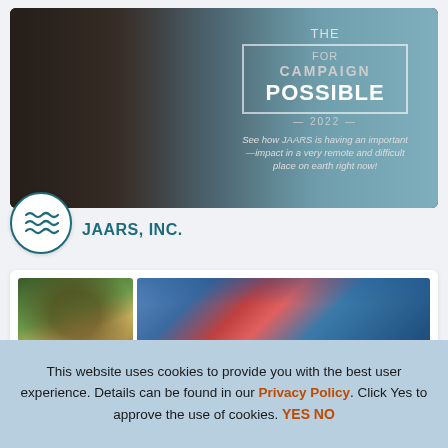[Figure (photo): Banner image for 'The Campaign for Possible 2022' by JAARS — aerial/mountain landscape with text overlay: 'THE CAMPAIGN FOR POSSIBLE 2022 — See how JAARS is having an important impact in a very remote and difficult place on earth right now!']
[Figure (logo): JAARS Inc. logo — circular icon with wavy lines representing water/radio waves in teal/dark teal color]
JAARS, INC.
[Figure (photo): Two side-by-side photographs: left photo shows a woman in colorful headwrap, right photo shows three people in life vests on a boat looking at documents]
This website uses cookies to provide you with the best user experience. Details can be found in our Privacy Policy. Click Yes to approve the use of cookies. YES NO